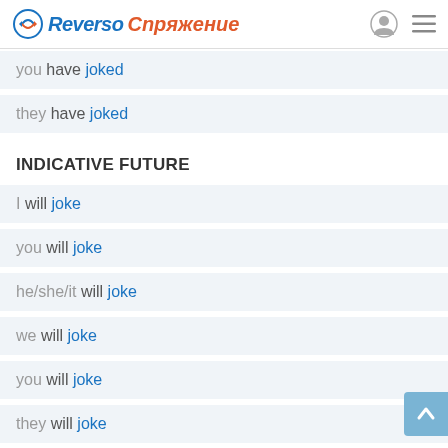Reverso Спряжение
you have joked
they have joked
INDICATIVE FUTURE
I will joke
you will joke
he/she/it will joke
we will joke
you will joke
they will joke
INDICATIVE FUTURE PERFECT